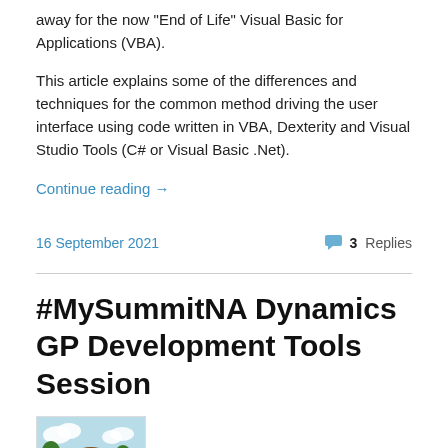away for the now “End of Life” Visual Basic for Applications (VBA).
This article explains some of the differences and techniques for the common method driving the user interface using code written in VBA, Dexterity and Visual Studio Tools (C# or Visual Basic .Net).
Continue reading →
16 September 2021
3 Replies
#MySummitNA Dynamics GP Development Tools Session
[Figure (illustration): Cartoon avatar illustration of a person with brown hair]